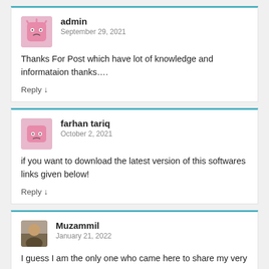[Figure (other): Avatar icon for admin user - pink cartoon character on square background]
admin
September 29, 2021
Thanks For Post which have lot of knowledge and informataion thanks….
Reply ↓
[Figure (other): Avatar icon for farhan tariq - pink cartoon character on square background]
farhan tariq
October 2, 2021
if you want to download the latest version of this softwares links given below!
Reply ↓
[Figure (photo): Avatar photo for Muzammil user]
Muzammil
January 21, 2022
I guess I am the only one who came here to share my very